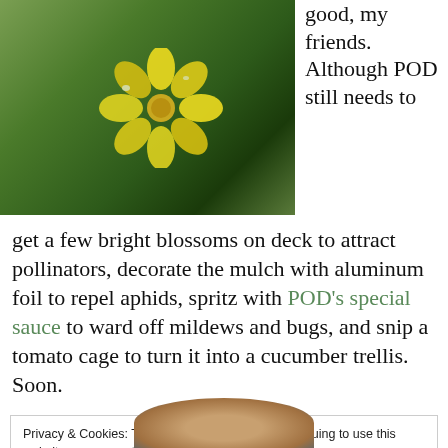[Figure (photo): Close-up photo of a yellow flower bloom on a cucumber plant with green leaves and dark mulch/soil background]
good, my friends. Although POD still needs to get a few bright blossoms on deck to attract pollinators, decorate the mulch with aluminum foil to repel aphids, spritz with POD's special sauce to ward off mildews and bugs, and snip a tomato cage to turn it into a cucumber trellis. Soon.
Privacy & Cookies: This site uses cookies. By continuing to use this website, you agree to their use.
To find out more, including how to control cookies, see here: Cookie Policy
Close and accept
[Figure (photo): Partial view of a person's face/head at the bottom of the page]